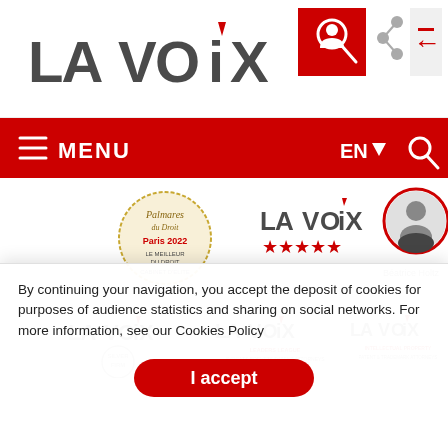[Figure (logo): LAVOIX law firm logo in dark gray with red accent]
[Figure (logo): Navigation icons: user/search (red background), share, login]
[Figure (screenshot): Red navigation bar with hamburger menu icon, MENU text, EN language selector with dropdown arrow, and search icon]
[Figure (logo): Palmares du Droit award badge - circular gold/cream design with text]
[Figure (logo): LAVOIX logo with 5 red stars below]
[Figure (photo): Circular black and white portrait photo of Béatrice Holtz]
Béatrice Holtz
[Figure (logo): LAVOIX logo with SILVER FIRM circular badge]
[Figure (logo): LAVOIX LEADERS LEAGUE AVOCATS BREVETS/PATENT ATTORNEYS logo]
[Figure (logo): LAVOIX INTELLECTUAL PROPERTY PATENT & TRADEMARK ATTORNEYS logo]
By continuing your navigation, you accept the deposit of cookies for purposes of audience statistics and sharing on social networks. For more information, see our Cookies Policy
[Figure (other): I accept button - red rounded rectangle button]